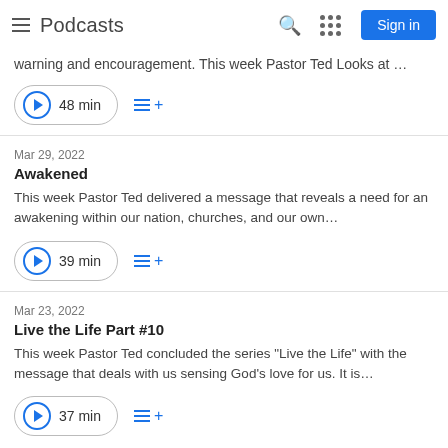Podcasts | Sign in
warning and encouragement. This week Pastor Ted Looks at …
48 min
Mar 29, 2022
Awakened
This week Pastor Ted delivered a message that reveals a need for an awakening within our nation, churches, and our own…
39 min
Mar 23, 2022
Live the Life Part #10
This week Pastor Ted concluded the series "Live the Life" with the message that deals with us sensing God's love for us. It is…
37 min